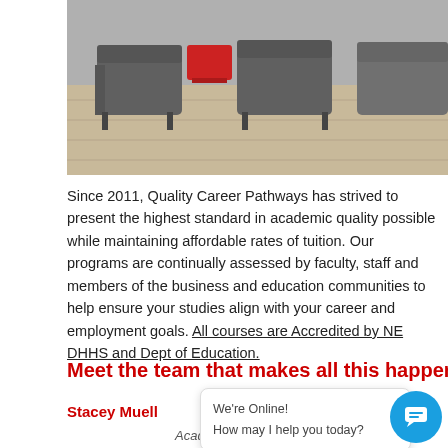[Figure (photo): Interior photo of a waiting area with grey upholstered chairs, a red side table, and light wood flooring]
Since 2011, Quality Career Pathways has strived to present the highest standard in academic quality possible while maintaining affordable rates of tuition. Our programs are continually assessed by faculty, staff and members of the business and education communities to help ensure your studies align with your career and employment goals. All courses are Accredited by NE DHHS and Dept of Education.
Meet the team that makes all this happen.
Stacey Muell
Academic Services Coordinator